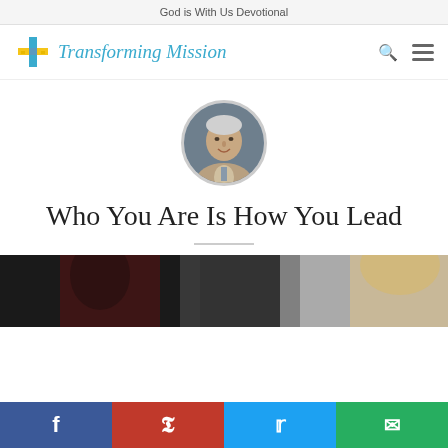God is With Us Devotional
[Figure (logo): Transforming Mission logo with cross icon and cursive text]
[Figure (photo): Circular headshot of an older man in a suit jacket and tie, smiling]
Who You Are Is How You Lead
[Figure (photo): Hero image showing partial figures, dark and light tones]
[Figure (infographic): Social sharing bar with Facebook, Pinterest, Twitter, and Email buttons]